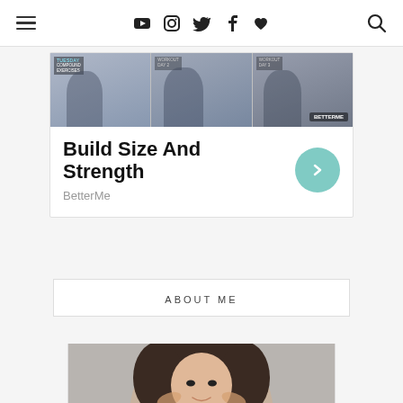Navigation bar with menu, social icons (YouTube, Instagram, Twitter, Facebook, heart), and search
[Figure (infographic): Advertisement card for BetterMe app showing fitness images with three panel image strip, title 'Build Size And Strength', subtitle 'BetterMe', and a teal circular arrow button]
Build Size And Strength
BetterMe
ABOUT ME
[Figure (photo): Portrait photo of a young Asian woman with dark wavy hair, smiling, hands raised near her head, against a grey background]